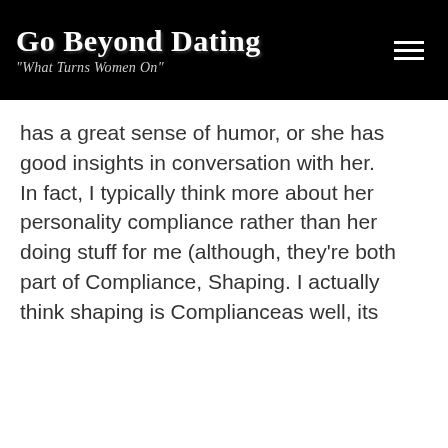Go Beyond Dating
"What Turns Women On"
has a great sense of humor, or she has good insights in conversation with her. In fact, I typically think more about her personality compliance rather than her doing stuff for me (although, they're both part of Compliance, Shaping. I actually think shaping is Complianceas well, its